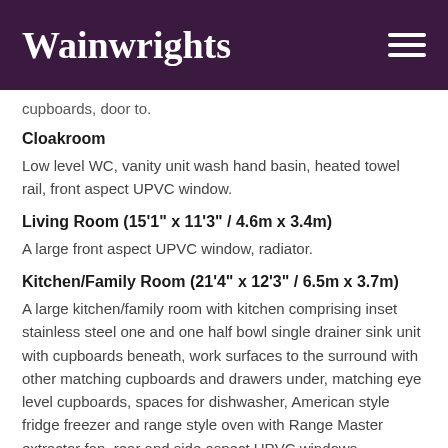Wainwrights
cupboards, door to.
Cloakroom
Low level WC, vanity unit wash hand basin, heated towel rail, front aspect UPVC window.
Living Room (15'1" x 11'3" / 4.6m x 3.4m)
A large front aspect UPVC window, radiator.
Kitchen/Family Room (21'4" x 12'3" / 6.5m x 3.7m)
A large kitchen/family room with kitchen comprising inset stainless steel one and one half bowl single drainer sink unit with cupboards beneath, work surfaces to the surround with other matching cupboards and drawers under, matching eye level cupboards, spaces for dishwasher, American style fridge freezer and range style oven with Range Master extractor fan, rear and side aspect UPVC windows